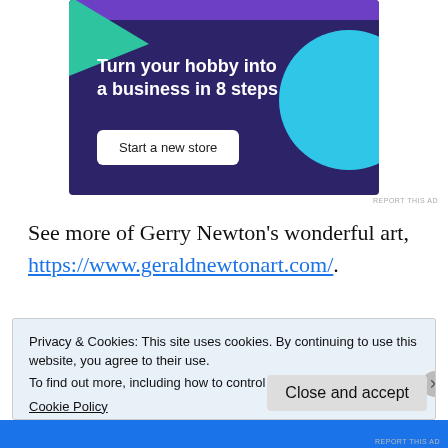[Figure (infographic): Advertisement banner with dark purple background, green triangle top-left, teal circle top-right, white bold text reading 'Turn your hobby into a business in 8 steps', and a white button labeled 'Start a new store']
See more of Gerry Newton's wonderful art, https://www.geraldnewtonart.com/.
Privacy & Cookies: This site uses cookies. By continuing to use this website, you agree to their use. To find out more, including how to control cookies, see here: Cookie Policy